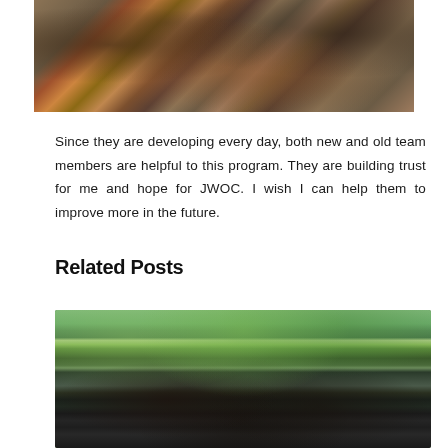[Figure (photo): A group of people sitting on the ground in what appears to be an outdoor meeting or community gathering, viewed from above.]
Since they are developing every day, both new and old team members are helpful to this program. They are building trust for me and hope for JWOC. I wish I can help them to improve more in the future.
Related Posts
[Figure (photo): A group photo of young people standing outdoors in front of tropical plants and trees, likely a team or organization group photo.]